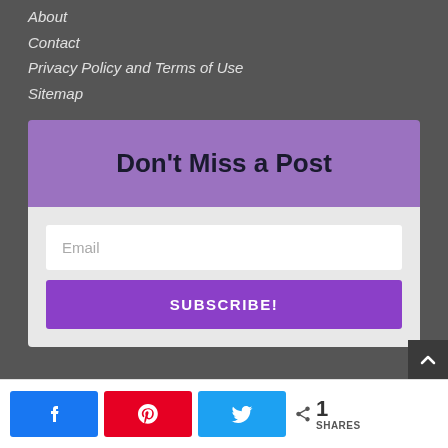About
Contact
Privacy Policy and Terms of Use
Sitemap
Don't Miss a Post
Email
SUBSCRIBE!
[Figure (screenshot): Scroll to top button (dark square with upward arrow)]
[Figure (infographic): Social share bar with Facebook, Pinterest, Twitter buttons and share count showing 1 SHARES]